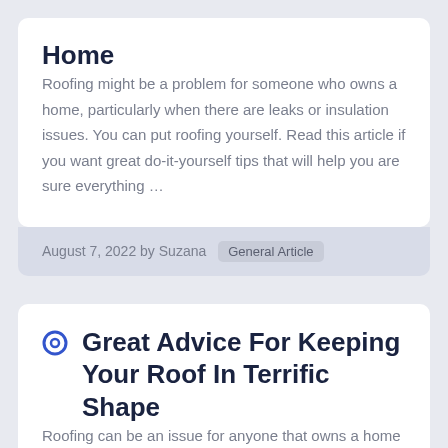Home
Roofing might be a problem for someone who owns a home, particularly when there are leaks or insulation issues. You can put roofing yourself. Read this article if you want great do-it-yourself tips that will help you are sure everything ...
August 7, 2022 by Suzana   General Article
Great Advice For Keeping Your Roof In Terrific Shape
Roofing can be an issue for anyone that owns a home